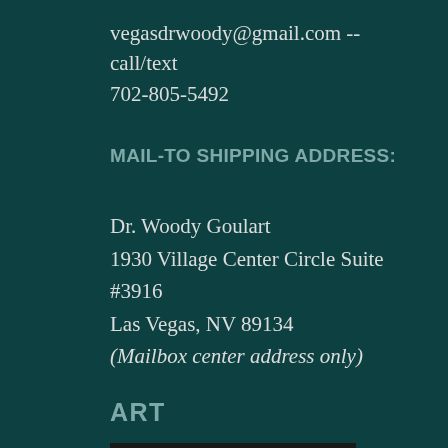vegasdrwoody@gmail.com -- call/text 702-805-5492
MAIL-TO SHIPPING ADDRESS:
Dr. Woody Goulart
1930 Village Center Circle Suite #3916
Las Vegas, NV 89134
(Mailbox center address only)
ART
[Figure (photo): A person with text 'SEE HIS ART' in blue diagonal text overlaid on dark background]